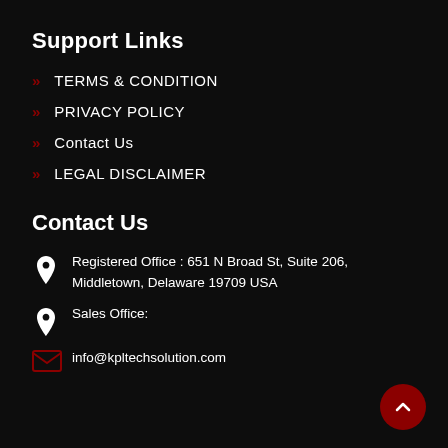Support Links
TERMS & CONDITION
PRIVACY POLICY
Contact Us
LEGAL DISCLAIMER
Contact Us
Registered Office : 651 N Broad St, Suite 206, Middletown, Delaware 19709 USA
Sales Office:
info@kpltechsolution.com